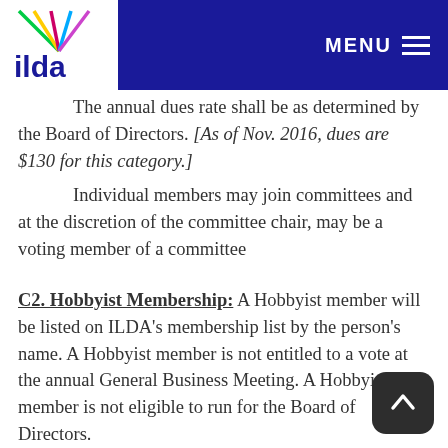ILDA — MENU
The annual dues rate shall be as determined by the Board of Directors. [As of Nov. 2016, dues are $130 for this category.]
Individual members may join committees and at the discretion of the committee chair, may be a voting member of a committee
C2. Hobbyist Membership: A Hobbyist member will be listed on ILDA's membership list by the person's name. A Hobbyist member is not entitled to a vote at the annual General Business Meeting. A Hobbyist member is not eligible to run for the Board of Directors.
The annual dues rate shall be as determined by the Board of Directors. [As of Nov. 2016, dues are $95 for this category.]